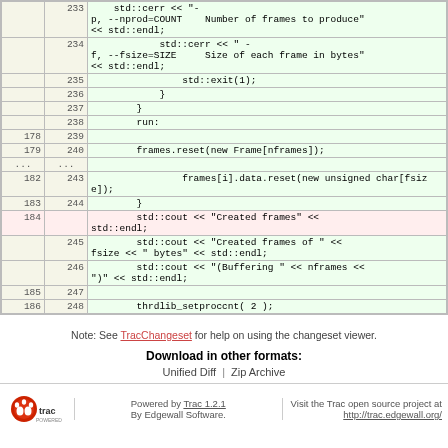| old | new | code |
| --- | --- | --- |
|  | 233 | std::cerr << "-p, --nprod=COUNT   Number of frames to produce" << std::endl; |
|  | 234 | std::cerr << "-f, --fsize=SIZE    Size of each frame in bytes" << std::endl; |
|  | 235 | std::exit(1); |
|  | 236 | } |
|  | 237 | } |
|  | 238 | run: |
| 178 | 239 |  |
| 179 | 240 | frames.reset(new Frame[nframes]); |
| ... | ... |  |
| 182 | 243 | frames[i].data.reset(new unsigned char[fsize]); |
| 183 | 244 | } |
| 184 |  | std::cout << "Created frames" << std::endl; |
|  | 245 | std::cout << "Created frames of " << fsize << " bytes" << std::endl; |
|  | 246 | std::cout << "(Buffering " << nframes << ")" << std::endl; |
| 185 | 247 |  |
| 186 | 248 | thrdlib_setproccnt( 2 ); |
Note: See TracChangeset for help on using the changeset viewer.
Download in other formats:
Unified Diff | Zip Archive
Powered by Trac 1.2.1
By Edgewall Software.
Visit the Trac open source project at http://trac.edgewall.org/